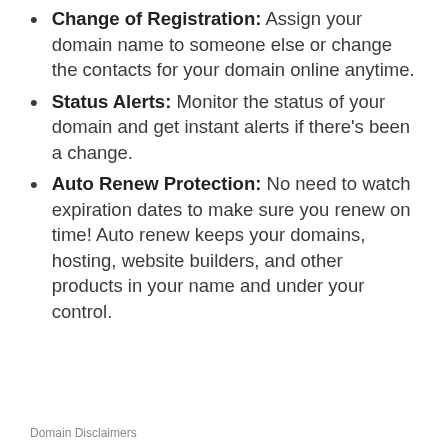Change of Registration: Assign your domain name to someone else or change the contacts for your domain online anytime.
Status Alerts: Monitor the status of your domain and get instant alerts if there's been a change.
Auto Renew Protection: No need to watch expiration dates to make sure you renew on time! Auto renew keeps your domains, hosting, website builders, and other products in your name and under your control.
Domain Disclaimers